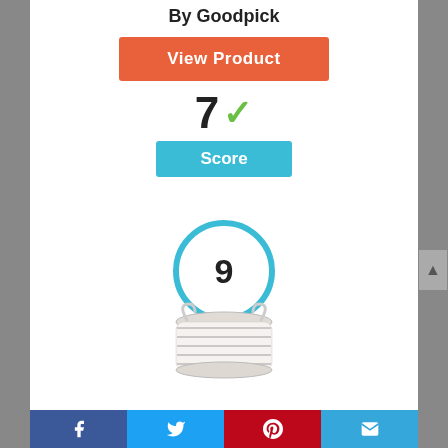By Goodpick
View Product
7 ✓
Score
[Figure (infographic): Circle badge with number 9 inside, outlined in blue]
[Figure (photo): Striped fabric basket/hamper with handles]
Facebook | Twitter | Pinterest | Email social share bar